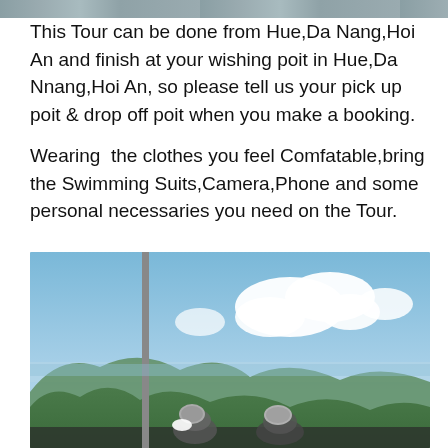[Figure (photo): Top portion of a photo showing a beach or coastal area with water and sandy/rocky ground, partially cropped at top of page.]
This Tour can be done from Hue,Da Nang,Hoi An and finish at your wishing poit in Hue,Da Nnang,Hoi An, so please tell us your pick up poit & drop off poit when you make a booking.
Wearing  the clothes you feel Comfatable,bring the Swimming Suits,Camera,Phone and some personal necessaries you need on the Tour.
[Figure (photo): Photo of people on motorcycles wearing helmets, with mountainous green landscape and blue sky with white clouds in the background. A vertical pole/post is visible on the left side.]